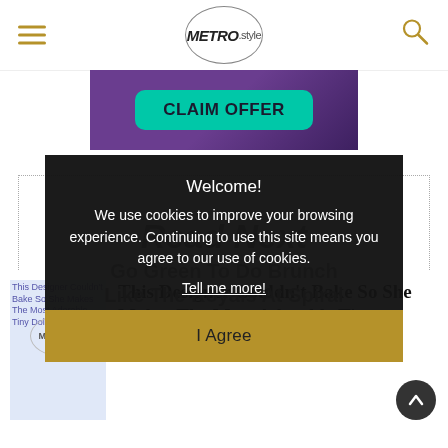METRO.style
[Figure (screenshot): Advertisement banner with purple background and teal CLAIM OFFER button]
[Figure (screenshot): Cookie consent overlay on dark background with Welcome! message, cookie policy text, Tell me more! link, and I Agree button]
Read Next
Go Green To Do Brunch Like The Royals At Spiral
[Figure (photo): Thumbnail image for article: This Designer Couldn't Bake So She Makes The Most Adorable Tiny Dollhouse Food]
This Designer Couldn't Bake So She Makes The Most Adorable Tiny Dollhouse Food